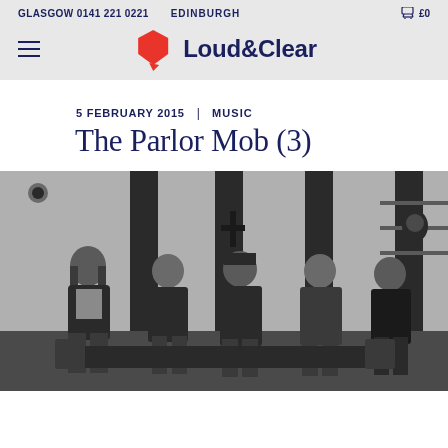GLASGOW 0141 221 0221   EDINBURGH   £0
[Figure (logo): Loud & Clear logo with red hexagon-like speech bubble icon and dark blue text]
5 FEBRUARY 2015  |  MUSIC
The Parlor Mob (3)
[Figure (photo): Black and white photograph of five men (band members of The Parlor Mob) sitting/standing together in a room with striped walls and a cross on the wall in the background.]